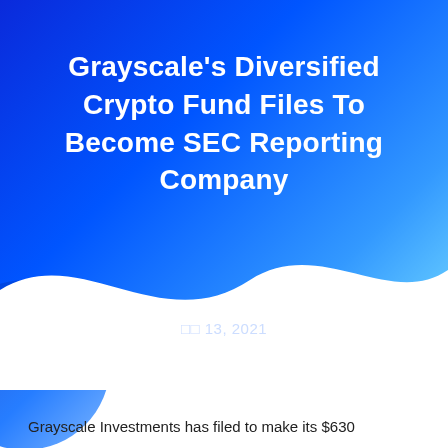Grayscale's Diversified Crypto Fund Files To Become SEC Reporting Company
□□ 13, 2021
Grayscale Investments has filed to make its $630